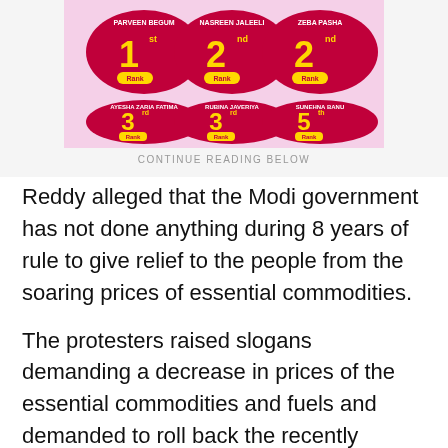[Figure (illustration): Colorful ranking badges showing 1st, 2nd, 2nd (top row) and 3rd, 3rd, 5th (bottom row) ranks for various contestants with names above each badge on a pink/light background.]
CONTINUE READING BELOW
Reddy alleged that the Modi government has not done anything during 8 years of rule to give relief to the people from the soaring prices of essential commodities.
The protesters raised slogans demanding a decrease in prices of the essential commodities and fuels and demanded to roll back the recently announced increase in electricity tariff in the state.